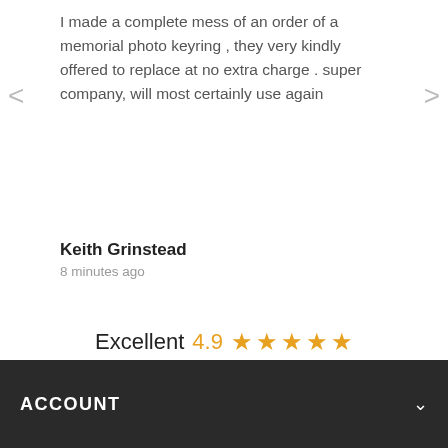I made a complete mess of an order of a memorial photo keyring , they very kindly offered to replace at no extra charge . super company, will most certainly use again
Keith Grinstead
8 minutes ago
Excellent 4.9 ★★★★★ See our 184 reviews on Trustpilot
ACCOUNT